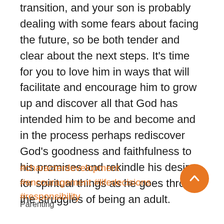transition, and your son is probably dealing with some fears about facing the future, so be both tender and clear about the next steps. It’s time for you to love him in ways that will facilitate and encourage him to grow up and discover all that God has intended him to be and become and in the process perhaps rediscover God’s goodness and faithfulness to his promises and rekindle his desire for spiritual things as he goes through the struggles of being an adult.
#characterdevelopment #encouragement #lifedecisions #responsibility
Parenting